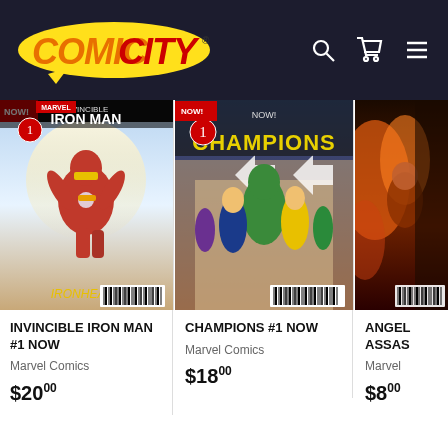Comic City
[Figure (illustration): Invincible Iron Man #1 NOW comic book cover showing Iron Man flying with Ironheart text at bottom]
INVINCIBLE IRON MAN #1 NOW
Marvel Comics
$20.00
[Figure (illustration): Champions #1 NOW comic book cover showing group of young superheroes including Hulk walking together]
CHAMPIONS #1 NOW
Marvel Comics
$18.00
[Figure (illustration): Partially visible comic book cover - Angel and the Ape or Angels & Assassins, third card cut off]
ANGEL ASSAS
Marvel
$8.00